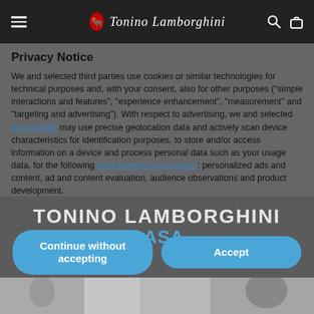Tonino Lamborghini
Privacy Notice
We and selected third parties use cookies or similar technologies for technical purposes and, with your consent, also for other purposes ("simple interactions and features", "experience enhancement", "measurement" and "targeting and advertising"). With respect to advertising, we and selected third parties may use precise geolocation data and actively scan device characteristics for identification purposes, to store and/or access information on a device and process personal data such as your usage data, for the following third advertising purposes: personalized ads and content, ad and content evaluation, audience observations and product development.
You can freely give, refuse, or revoke your consent, at any time, by accessing the preferences panel and clicking on "Learn more and customize".
Continue without accepting
Accept
Learn more and customize